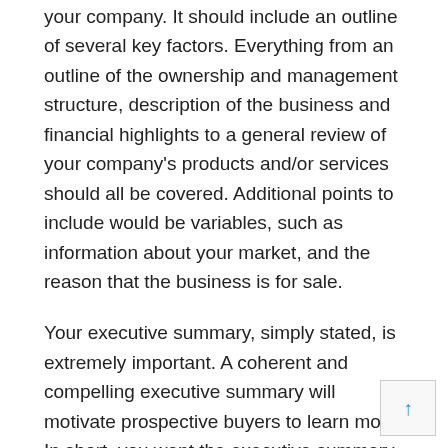your company. It should include an outline of several key factors. Everything from an outline of the ownership and management structure, description of the business and financial highlights to a general review of your company's products and/or services should all be covered. Additional points to include would be variables, such as information about your market, and the reason that the business is for sale.
Your executive summary, simply stated, is extremely important. A coherent and compelling executive summary will motivate prospective buyers to learn more. In short, you want the executive summary of your offering memorandum to shine. It should capture the